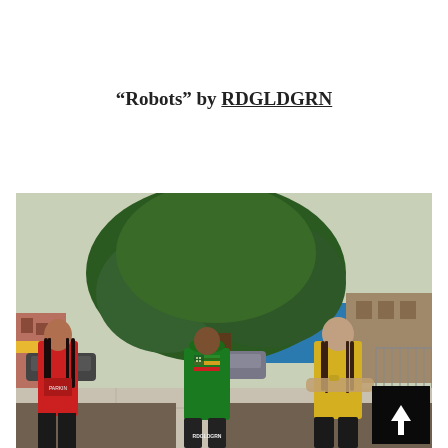“Robots” by RDGLDGRN
[Figure (photo): Three people standing on a sidewalk in front of a large green tree. On the left, a person in a red long-sleeve shirt with long hair. In the center, a person with their back turned wearing a green t-shirt with a Rastafarian-colored American flag and a green hat; the shirt reads RDGLDGRN. On the right, a person in a yellow t-shirt with long hair and arms crossed. Urban street scene with buildings and parked cars in background. A dark scroll-to-top button with an upward arrow is overlaid in the bottom-right corner.]